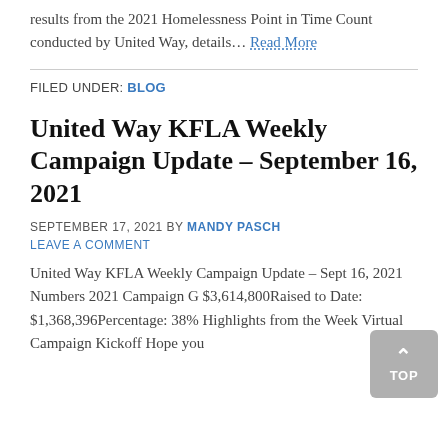results from the 2021 Homelessness Point in Time Count conducted by United Way, details… Read More
FILED UNDER: BLOG
United Way KFLA Weekly Campaign Update – September 16, 2021
SEPTEMBER 17, 2021 BY MANDY PASCH
LEAVE A COMMENT
United Way KFLA Weekly Campaign Update – Sept 16, 2021 Numbers 2021 Campaign G $3,614,800Raised to Date: $1,368,396Percentage: 38% Highlights from the Week Virtual Campaign Kickoff Hope you